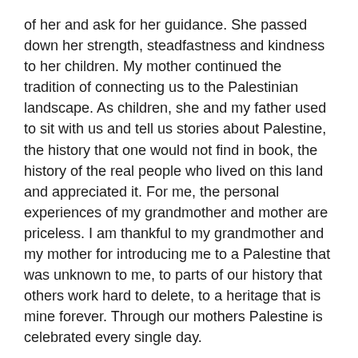of her and ask for her guidance. She passed down her strength, steadfastness and kindness to her children. My mother continued the tradition of connecting us to the Palestinian landscape. As children, she and my father used to sit with us and tell us stories about Palestine, the history that one would not find in book, the history of the real people who lived on this land and appreciated it. For me, the personal experiences of my grandmother and mother are priceless. I am thankful to my grandmother and my mother for introducing me to a Palestine that was unknown to me, to parts of our history that others work hard to delete, to a heritage that is mine forever. Through our mothers Palestine is celebrated every single day.
In his poem “My Mother”, late Palestinian poet Mahmoud Darwish said:
I must be worth my life
At the hour of my death
Worth the tears of my mother